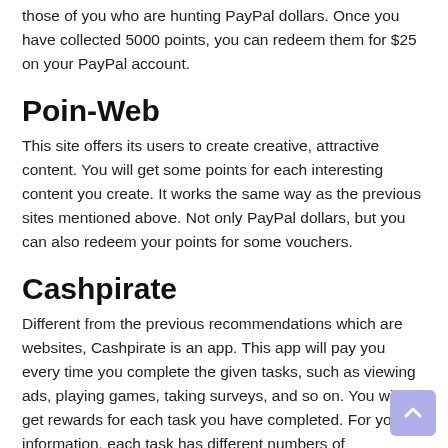those of you who are hunting PayPal dollars. Once you have collected 5000 points, you can redeem them for $25 on your PayPal account.
Poin-Web
This site offers its users to create creative, attractive content. You will get some points for each interesting content you create. It works the same way as the previous sites mentioned above. Not only PayPal dollars, but you can also redeem your points for some vouchers.
Cashpirate
Different from the previous recommendations which are websites, Cashpirate is an app. This app will pay you every time you complete the given tasks, such as viewing ads, playing games, taking surveys, and so on. You will get rewards for each task you have completed. For your information, each task has different numbers of